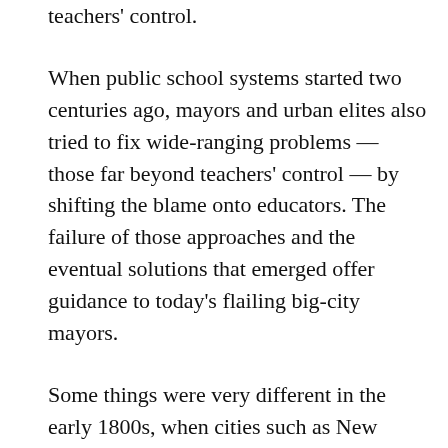teachers' control.
When public school systems started two centuries ago, mayors and urban elites also tried to fix wide-ranging problems — those far beyond teachers' control — by shifting the blame onto educators. The failure of those approaches and the eventual solutions that emerged offer guidance to today's flailing big-city mayors.
Some things were very different in the early 1800s, when cities such as New York, Philadelphia and Baltimore were just beginning their citywide public school systems. The goal of those early public schools was to provide free